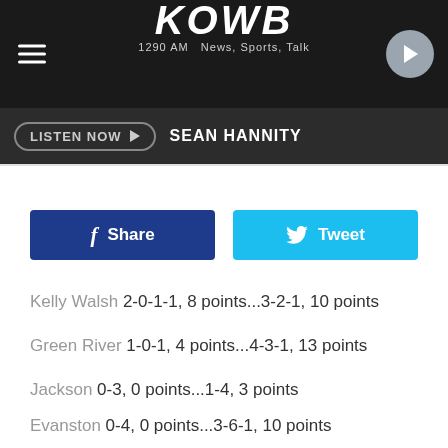KOWB 1290 AM News, Sports, Talk
LISTEN NOW  SEAN HANNITY
Share  Tweet
Kelly Walsh 2-0-1-1, 8 points...3-2-1, 10 points
Green River 1-0-1, 4 points...4-3-1, 13 points
Jackson 0-3, 0 points...1-4, 3 points
Evanston 0-4, 0 points...3-6-1, 10 points
3A Northeast:
Douglas 1-0, 3 points...3-4, 9 points